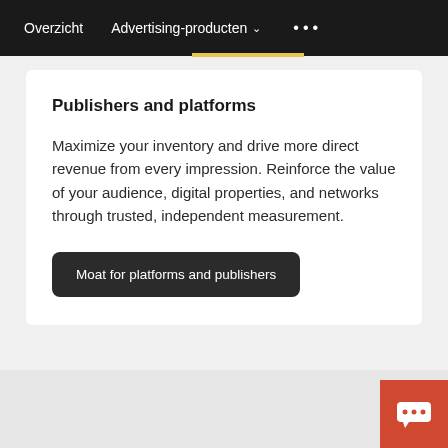Overzicht   Advertising-producten ▾   •••
Publishers and platforms
Maximize your inventory and drive more direct revenue from every impression. Reinforce the value of your audience, digital properties, and networks through trusted, independent measurement.
Moat for platforms and publishers